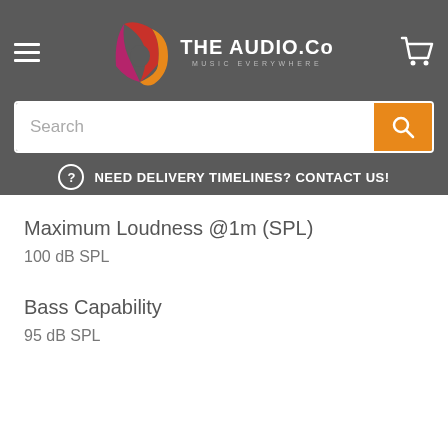[Figure (logo): The Audio Co logo with music note icon and tagline MUSIC EVERYWHERE on dark grey header background]
Search
NEED DELIVERY TIMELINES? CONTACT US!
Maximum Loudness @1m (SPL)
100 dB SPL
Bass Capability
95 dB SPL